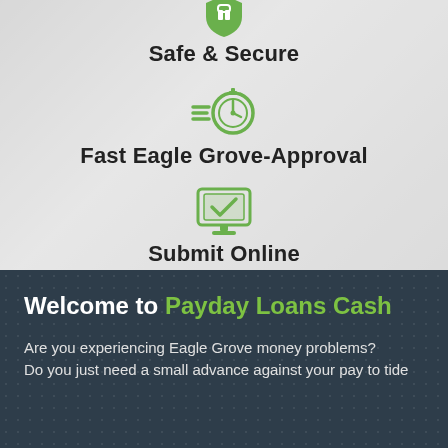[Figure (infographic): Green shield/lock icon for Safe & Secure feature]
Safe & Secure
[Figure (infographic): Green stopwatch with speed lines icon for Fast Eagle Grove-Approval feature]
Fast Eagle Grove-Approval
[Figure (infographic): Green laptop/monitor with checkmark icon for Submit Online feature]
Submit Online
Welcome to Payday Loans Cash
Are you experiencing Eagle Grove money problems? Do you just need a small advance against your pay to tide